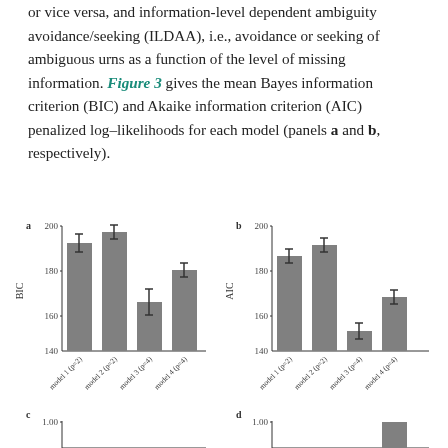or vice versa, and information-level dependent ambiguity avoidance/seeking (ILDAA), i.e., avoidance or seeking of ambiguous urns as a function of the level of missing information. Figure 3 gives the mean Bayes information criterion (BIC) and Akaike information criterion (AIC) penalized log-likelihoods for each model (panels a and b, respectively).
[Figure (grouped-bar-chart): BIC by model]
[Figure (grouped-bar-chart): AIC by model]
[Figure (bar-chart): Partial bar chart panel c, values not fully visible]
[Figure (bar-chart): Partial bar chart panel d, values not fully visible]